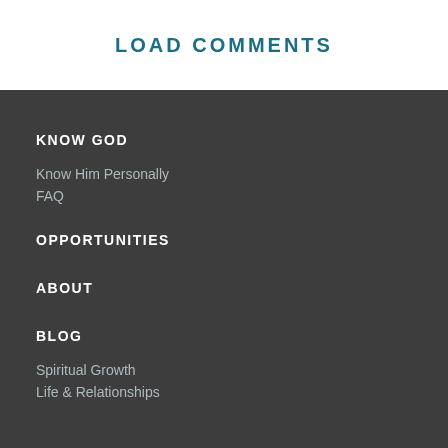LOAD COMMENTS
KNOW GOD
Know Him Personally
FAQ
OPPORTUNITIES
ABOUT
BLOG
Spiritual Growth
Life & Relationships